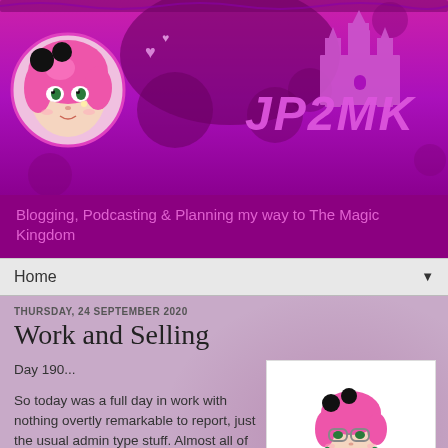[Figure (illustration): JP2MK blog header banner with pink/magenta background, decorative swirls, anime-style girl avatar with pink hair in circle, castle silhouette icon, hearts, and JP2MK logo text]
Blogging, Podcasting & Planning my way to The Magic Kingdom
Home
THURSDAY, 24 SEPTEMBER 2020
Work and Selling
Day 190...
So today was a full day in work with nothing overtly remarkable to report, just the usual admin type stuff. Almost all of our new children